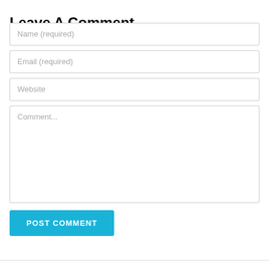Leave A Comment
Name (required)
Email (required)
Website
Comment...
POST COMMENT